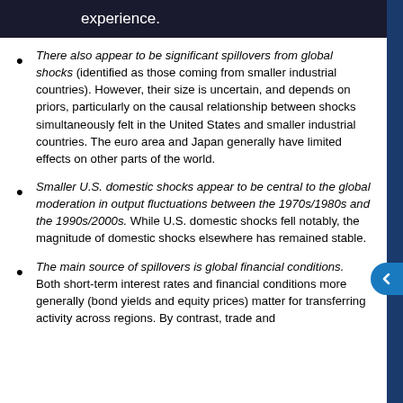U.S. experience.
There also appear to be significant spillovers from global shocks (identified as those coming from smaller industrial countries). However, their size is uncertain, and depends on priors, particularly on the causal relationship between shocks simultaneously felt in the United States and smaller industrial countries. The euro area and Japan generally have limited effects on other parts of the world.
Smaller U.S. domestic shocks appear to be central to the global moderation in output fluctuations between the 1970s/1980s and the 1990s/2000s. While U.S. domestic shocks fell notably, the magnitude of domestic shocks elsewhere has remained stable.
The main source of spillovers is global financial conditions. Both short-term interest rates and financial conditions more generally (bond yields and equity prices) matter for transferring activity across regions. By contrast, trade and